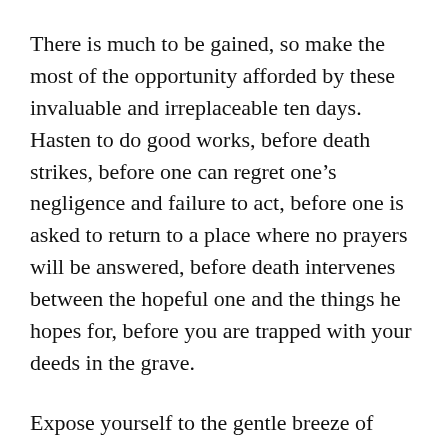There is much to be gained, so make the most of the opportunity afforded by these invaluable and irreplaceable ten days. Hasten to do good works, before death strikes, before one can regret one's negligence and failure to act, before one is asked to return to a place where no prayers will be answered, before death intervenes between the hopeful one and the things he hopes for, before you are trapped with your deeds in the grave.
Expose yourself to the gentle breeze of your Lord's mercy during these ten days, for Allaah